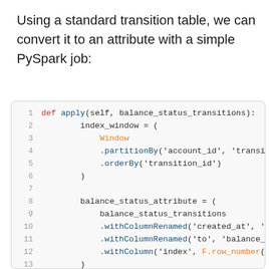Using a standard transition table, we can convert it to an attribute with a simple PySpark job:
[Figure (screenshot): Python/PySpark code snippet showing a function 'apply' that creates an index_window using Window.partitionBy and .orderBy, then builds balance_status_attribute using withColumnRenamed and withColumn methods, returning balance_status_attribute.]